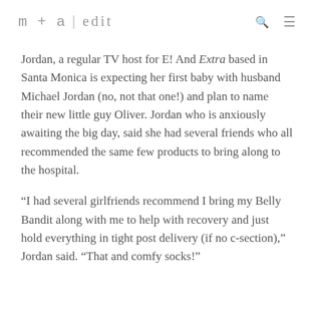m + a | edit
Jordan, a regular TV host for E! And Extra based in Santa Monica is expecting her first baby with husband Michael Jordan (no, not that one!) and plan to name their new little guy Oliver. Jordan who is anxiously awaiting the big day, said she had several friends who all recommended the same few products to bring along to the hospital.
“I had several girlfriends recommend I bring my Belly Bandit along with me to help with recovery and just hold everything in tight post delivery (if no c-section),”  Jordan said. “That and comfy socks!”